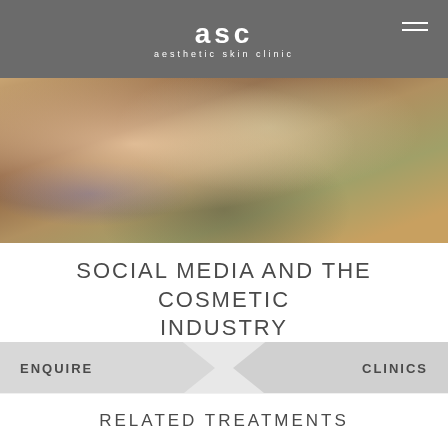[Figure (logo): ASC - aesthetic skin clinic logo in white on grey background]
[Figure (photo): Close-up blurred photo of hands holding a smartphone]
SOCIAL MEDIA AND THE COSMETIC INDUSTRY
IS SOCIAL MEDIA PLAYING A PART IN THE RISE OF COSMETIC TREATMENTS? WE'VE PREVIOUSLY DISCUSSED HOW...
READ MORE
ENQUIRE
CLINICS
RELATED TREATMENTS